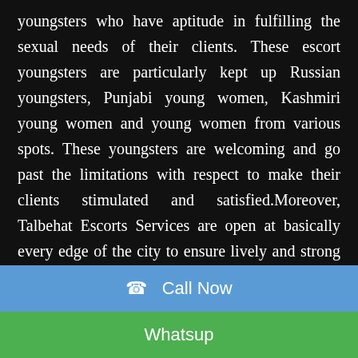youngsters who have aptitude in fulfilling the sexual needs of their clients. These escort youngsters are particularly kept up Russian youngsters, Punjabi young women, Kashmiri young women and young women from various spots. These youngsters are welcoming and go past the limitations with respect to make their clients stimulated and satisfied.Moreover, Talbehat Escorts Services are open at basically every edge of the city to ensure lively and strong organizations. Youngsters related with these organizations have great eyes, sparkles lips and appealing
📞  Call Now
Whatsup